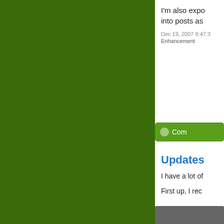I'm also expo... into posts as...
Dec 19, 2007 8:47:3...
Enhancement
Com...
Updates
I have a lot of...
First up, I rec...
[Figure (photo): Photo of a book with a red spine label reading 'Cables Volume 1: The Basics']